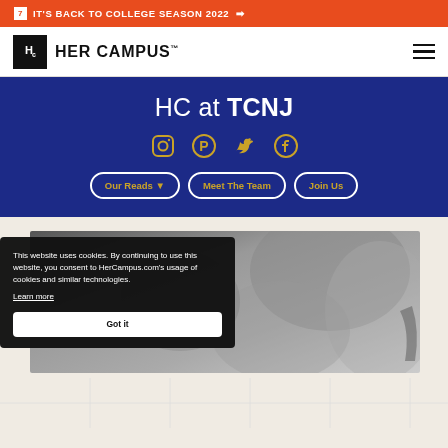🗂 IT'S BACK TO COLLEGE SEASON 2022 →
[Figure (logo): Her Campus logo with HC monogram box and wordmark]
HC at TCNJ
[Figure (infographic): Social media icons: Instagram, Pinterest, Twitter, Facebook in gold]
Our Reads ▾
Meet The Team
Join Us
[Figure (photo): Black and white photo of a person outdoors among trees/foliage]
This website uses cookies. By continuing to use this website, you consent to HerCampus.com's usage of cookies and similar technologies. Learn more
Got it